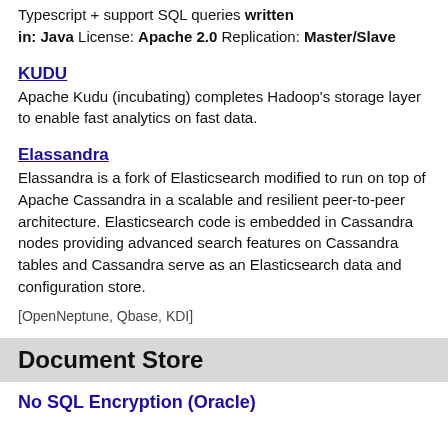Typescript + support SQL queries written in: Java License: Apache 2.0 Replication: Master/Slave
KUDU
Apache Kudu (incubating) completes Hadoop's storage layer to enable fast analytics on fast data.
Elassandra
Elassandra is a fork of Elasticsearch modified to run on top of Apache Cassandra in a scalable and resilient peer-to-peer architecture. Elasticsearch code is embedded in Cassandra nodes providing advanced search features on Cassandra tables and Cassandra serve as an Elasticsearch data and configuration store.
[OpenNeptune, Qbase, KDI]
Document Store
No SQL Encryption (Oracle)